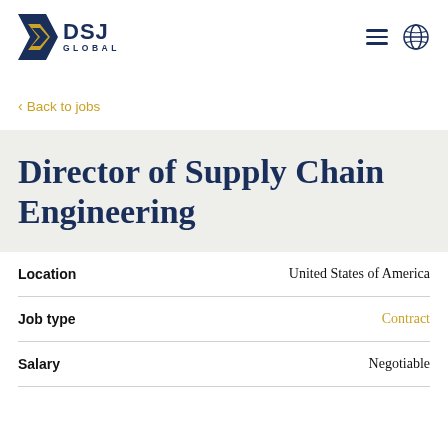DSJ GLOBAL
< Back to jobs
Director of Supply Chain Engineering
| Field | Value |
| --- | --- |
| Location | United States of America |
| Job type | Contract |
| Salary | Negotiable |